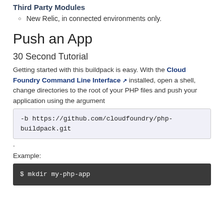Third Party Modules
New Relic, in connected environments only.
Push an App
30 Second Tutorial
Getting started with this buildpack is easy. With the Cloud Foundry Command Line Interface installed, open a shell, change directories to the root of your PHP files and push your application using the argument
-b https://github.com/cloudfoundry/php-buildpack.git
.
Example:
$ mkdir my-php-app